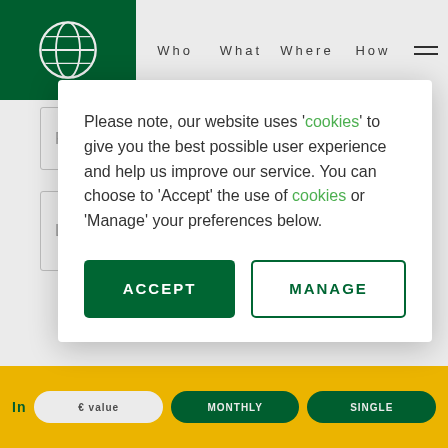Who  What  Where  How
First Name
Last Name
Please note, our website uses 'cookies' to give you the best possible user experience and help us improve our service. You can choose to 'Accept' the use of cookies or 'Manage' your preferences below.
ACCEPT
MANAGE